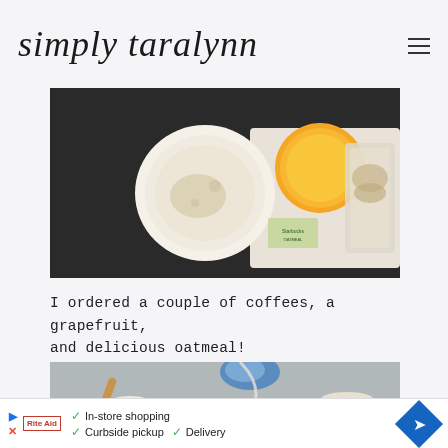simply taralynn
[Figure (photo): Overhead view of food items on a dark table: a white bowl of oatmeal, grapefruit, and other items in containers]
I ordered a couple of coffees, a grapefruit, and delicious oatmeal!
[Figure (photo): Table scene with a bowl of oatmeal with a spoon, coffee cups, a magazine, and legs visible in the background]
[Figure (infographic): Advertisement banner: In-store shopping, Curbside pickup, Delivery with a blue navigation arrow icon]